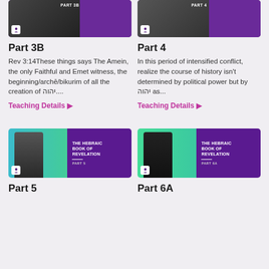[Figure (screenshot): Video thumbnail for Part 3B of The Hebraic Book of Revelation showing presenter with purple background]
[Figure (screenshot): Video thumbnail for Part 4 of The Hebraic Book of Revelation showing presenter with purple background]
Part 3B
Rev 3:14These things says The Amein, the only Faithful and Emet witness, the beginning/archē/bikurim of all the creation of יהוה....
Teaching Details ▶
Part 4
In this period of intensified conflict, realize the course of history isn't determined by political power but by יהוה as...
Teaching Details ▶
[Figure (screenshot): Video thumbnail for Part 5 of The Hebraic Book of Revelation]
[Figure (screenshot): Video thumbnail for Part 6A of The Hebraic Book of Revelation]
Part 5
Part 6A